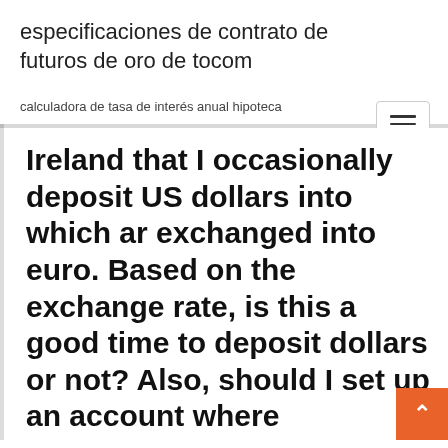especificaciones de contrato de futuros de oro de tocom
calculadora de tasa de interés anual hipoteca
Ireland that I occasionally deposit US dollars into which ar exchanged into euro. Based on the exchange rate, is this a good time to deposit dollars or not? Also, should I set up an account where